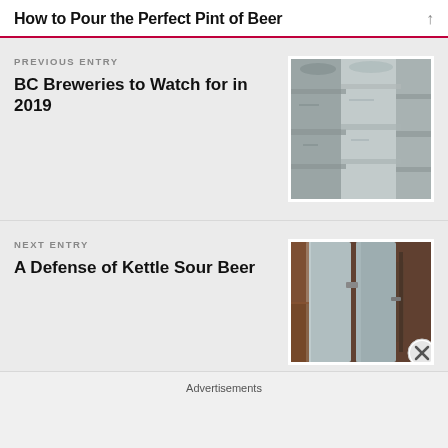How to Pour the Perfect Pint of Beer
PREVIOUS ENTRY
BC Breweries to Watch for in 2019
[Figure (photo): Metal beer kegs stacked together, silver/grey colored, showing weathered surfaces]
NEXT ENTRY
A Defense of Kettle Sour Beer
[Figure (photo): Industrial brewing equipment, stainless steel tanks and pipes visible]
Advertisements